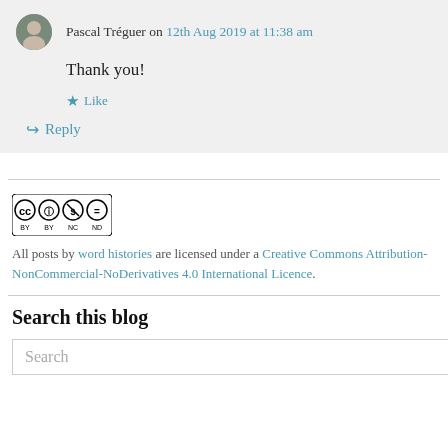Pascal Tréguer on 12th Aug 2019 at 11:38 am
Thank you!
★ Like
↳ Reply
[Figure (logo): Creative Commons license badge: CC BY NC ND]
All posts by word histories are licensed under a Creative Commons Attribution-NonCommercial-NoDerivatives 4.0 International Licence.
Search this blog
Search